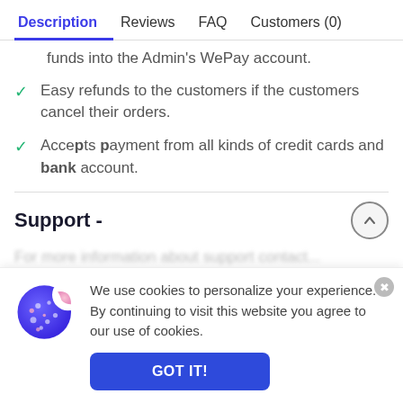Description | Reviews | FAQ | Customers (0)
funds into the Admin's WePay account.
Easy refunds to the customers if the customers cancel their orders.
Accepts payment from all kinds of credit cards and bank account.
Support -
Live Chat
We use cookies to personalize your experience. By continuing to visit this website you agree to our use of cookies.